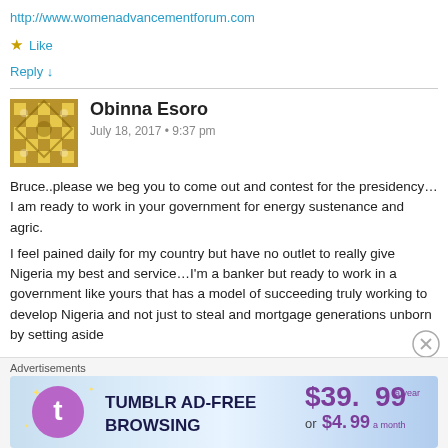http://www.womenadvancementforum.com
★ Like
Reply ↓
Obinna Esoro
July 18, 2017 • 9:37 pm
Bruce..please we beg you to come out and contest for the presidency…I am ready to work in your government for energy sustenance and agric.
I feel pained daily for my country but have no outlet to really give Nigeria my best and service…I'm a banker but ready to work in a government like yours that has a model of succeeding truly working to develop Nigeria and not just to steal and mortgage generations unborn by setting aside
Advertisements
[Figure (screenshot): Tumblr Ad-Free Browsing advertisement banner showing $39.99 a year or $4.99 a month]